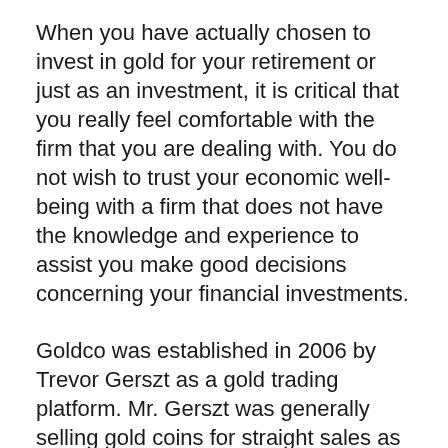When you have actually chosen to invest in gold for your retirement or just as an investment, it is critical that you really feel comfortable with the firm that you are dealing with. You do not wish to trust your economic well-being with a firm that does not have the knowledge and experience to assist you make good decisions concerning your financial investments.
Goldco was established in 2006 by Trevor Gerszt as a gold trading platform. Mr. Gerszt was generally selling gold coins for straight sales as financial investments. The business additionally offered gold bars and access to silver coins as well as metals.
Gerszt soon uncovered that there was a